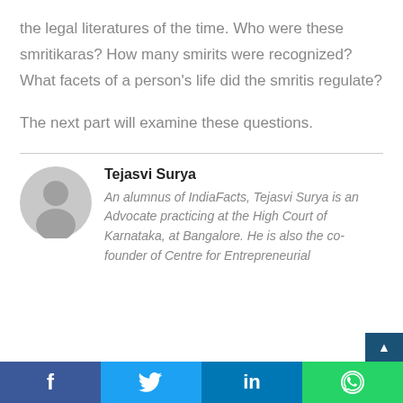the legal literatures of the time. Who were these smritikaras? How many smirits were recognized? What facets of a person's life did the smritis regulate?
The next part will examine these questions.
[Figure (illustration): Circular avatar placeholder icon with grey background showing a generic person silhouette]
Tejasvi Surya
An alumnus of IndiaFacts, Tejasvi Surya is an Advocate practicing at the High Court of Karnataka, at Bangalore. He is also the co-founder of Centre for Entrepreneurial
f  [Twitter bird]  in  [WhatsApp]